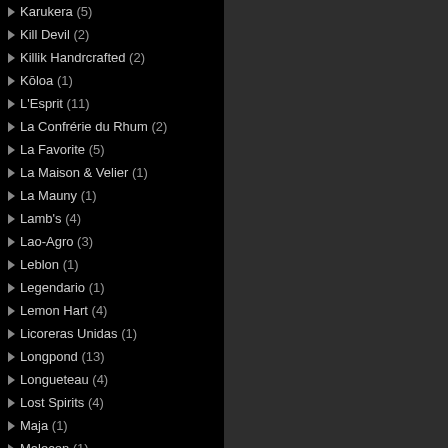Karukera (5)
Kill Devil (2)
Killik Handrcrafted (2)
Kōloa (1)
L'Esprit (11)
La Confrérie du Rhum (2)
La Favorite (5)
La Maison & Velier (1)
La Mauny (1)
Lamb's (4)
Lao-Agro (3)
Leblon (1)
Legendario (1)
Lemon Hart (4)
Licoreras Unidas (1)
Longpond (13)
Longueteau (4)
Lost Spirits (4)
Maja (1)
Malecon (1)